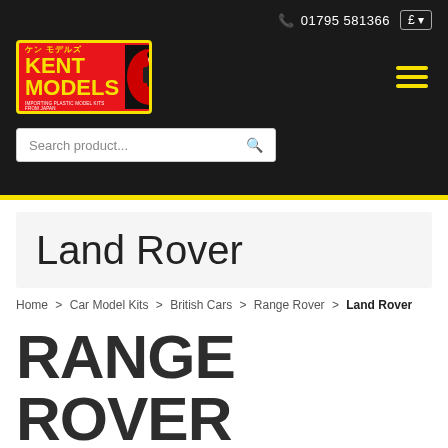01795 581366 | £
[Figure (logo): Kent Models logo - red background with yellow border, Japanese text ケン モデルズ, KENT MODELS text in yellow, anime-style figure on right]
Search product...
Land Rover
Home > Car Model Kits > British Cars > Range Rover > Land Rover
RANGE ROVER